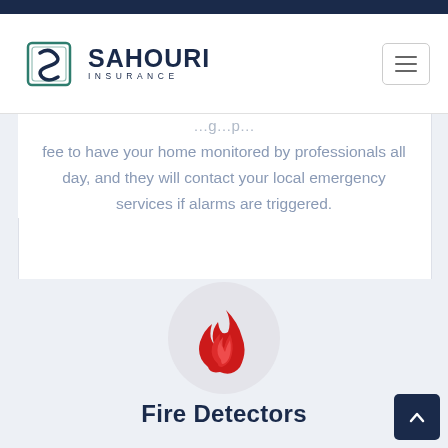[Figure (logo): Sahouri Insurance logo with stylized S icon and text SAHOURI INSURANCE]
fee to have your home monitored by professionals all day, and they will contact your local emergency services if alarms are triggered.
[Figure (illustration): Red flame fire icon inside a light gray circle]
Fire Detectors